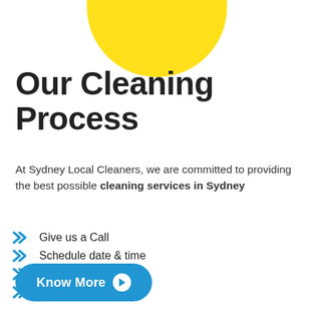[Figure (illustration): Yellow semicircle/ellipse shape centered at top of page]
Our Cleaning Process
At Sydney Local Cleaners, we are committed to providing the best possible cleaning services in Sydney
Give us a Call
Schedule date & time
We get the job done
Easy Payment
Know More